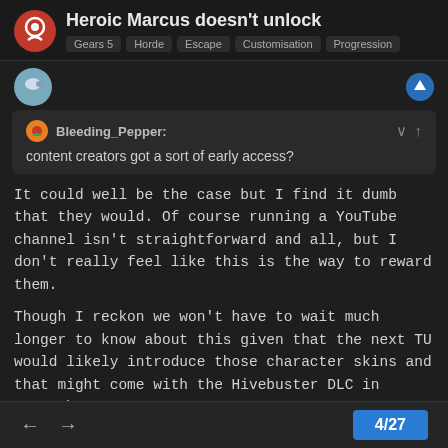Heroic Marcus doesn't unlock — Gears 5  Horde  Escape  Customisation  Progression
Bleeding_Pepper: content creators got a sort of early access?
It could well be the case but I find it dumb that they would. Of course running a YouTube channel isn't straightforward and all, but I don't really feel like this is the way to reward them.
Though I reckon we won't have to wait much longer to know about this given that the next TU would likely introduce those character skins and that might come with the Hivebuster DLC in September.
SatinFlipper6  Nov '20
4 / 27